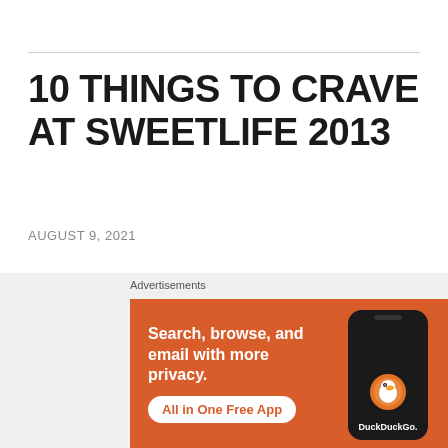10 THINGS TO CRAVE AT SWEETLIFE 2013
AUGUST 9, 2021
[Originally published on Virgin.com, May 2013]
[Figure (screenshot): DuckDuckGo advertisement banner with orange background showing 'Search, browse, and email with more privacy. All in One Free App' with a phone mockup and DuckDuckGo logo]